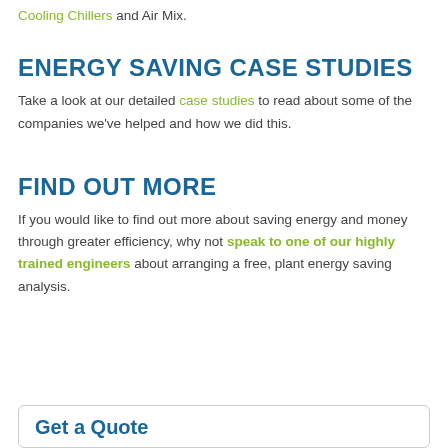Cooling Chillers and Air Mix.
ENERGY SAVING CASE STUDIES
Take a look at our detailed case studies to read about some of the companies we've helped and how we did this.
FIND OUT MORE
If you would like to find out more about saving energy and money through greater efficiency, why not speak to one of our highly trained engineers about arranging a free, plant energy saving analysis.
Get a Quote